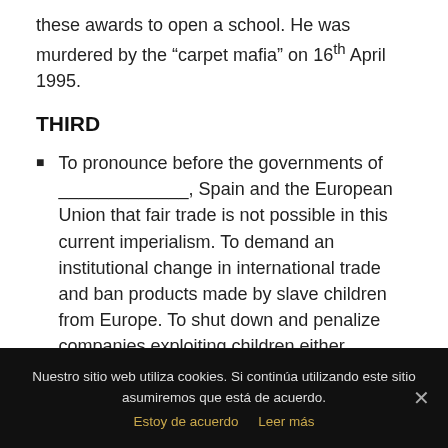these awards to open a school. He was murdered by the “carpet mafia” on 16th April 1995.
THIRD
To pronounce before the governments of ___________, Spain and the European Union that fair trade is not possible in this current imperialism. To demand an institutional change in international trade and ban products made by slave children from Europe. To shut down and penalize companies exploiting children either
Nuestro sitio web utiliza cookies. Si continúa utilizando este sitio asumiremos que está de acuerdo. Estoy de acuerdo Leer más